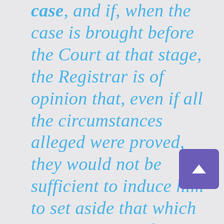case, and if, when the case is brought before the Court at that stage, the Registrar is of opinion that, even if all the circumstances alleged were proved, they would not be sufficient to induce him to set aside that which is strong prima facie evidence against the debtor, and to disregard the consent judgment, he may stop there and say, I will not hear the evidence; it would be useless to hear it if that is all you can allege. Of course his view would be